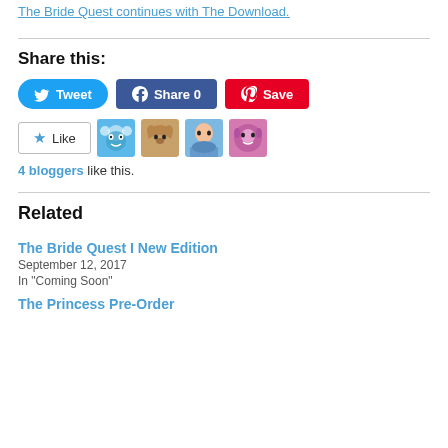The Bride Quest continues with The Download.
Share this:
[Figure (other): Social share buttons: Tweet (Twitter/blue), Share 0 (Facebook/dark blue), Save (Pinterest/red)]
[Figure (other): Like button with star icon, followed by 4 blogger avatar thumbnails (monster, dog, person, monster)]
4 bloggers like this.
Related
The Bride Quest I New Edition
September 12, 2017
In "Coming Soon"
The Princess Pre-Order